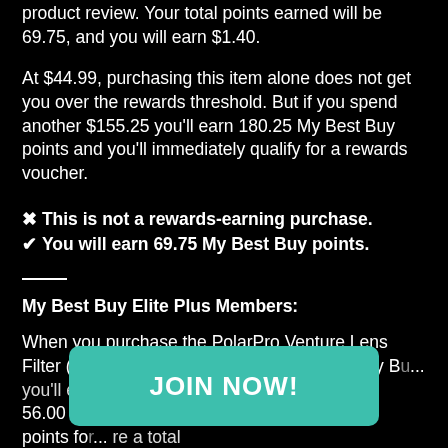product review. Your total points earned will be 69.75, and you will earn $1.40.
At $44.99, purchasing this item alone does not get you over the rewards threshold. But if you spend another $155.25 you'll earn 180.25 My Best Buy points and you'll immediately qualify for a rewards voucher.
✖ This is not a rewards-earning purchase.
✔ You will earn 69.75 My Best Buy points.
My Best Buy Elite Plus Members:
When you purchase the PolarPro Venture Lens Filter (3-pack) at $44.99 after achieving the My B... you'll earn 56.00 poi... 5 bonus points fo... re a total of 81.00 points and $1.62 in rewards.
JOIN NOW!